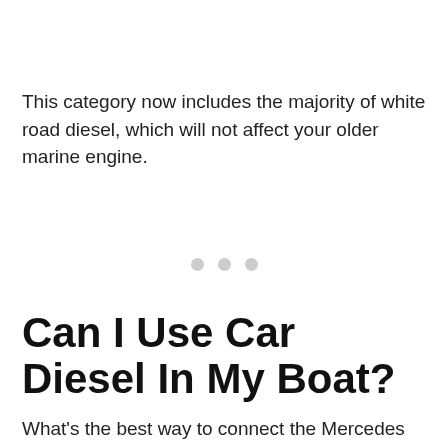This category now includes the majority of white road diesel, which will not affect your older marine engine.
[Figure (other): Three light gray decorative dots used as a section separator]
Can I Use Car Diesel In My Boat?
What's the best way to connect the Mercedes engine